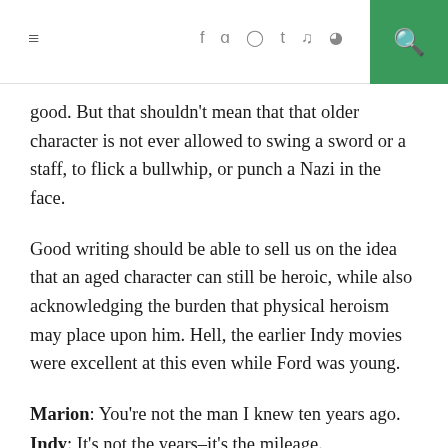≡  f  ψ  ⊕  t  ♪  ɸ  🔍
good. But that shouldn't mean that that older character is not ever allowed to swing a sword or a staff, to flick a bullwhip, or punch a Nazi in the face.
Good writing should be able to sell us on the idea that an aged character can still be heroic, while also acknowledging the burden that physical heroism may place upon him. Hell, the earlier Indy movies were excellent at this even while Ford was young.
Marion: You're not the man I knew ten years ago.
Indy: It's not the years–it's the mileage.
Iconic lines, which, I might add, were in a scene that happened after Indy got beaten to hell and back in the truck chase, stealing the Ark from the Germans–including getting shot. Last Crusade did it too, when Indy painfully pulls himself back